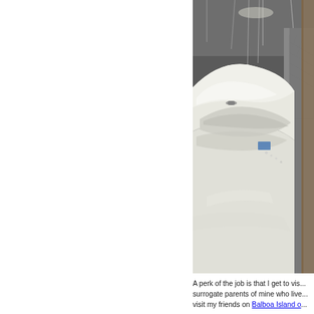[Figure (photo): Close-up photo of the hull and deck of a white sailboat or watercraft inside a workshop or storage facility. The boat's smooth white fiberglass surface curves prominently in the foreground, with workshop infrastructure visible in the background.]
A perk of the job is that I get to vis... surrogate parents of mine who live... visit my friends on Balboa Island o...